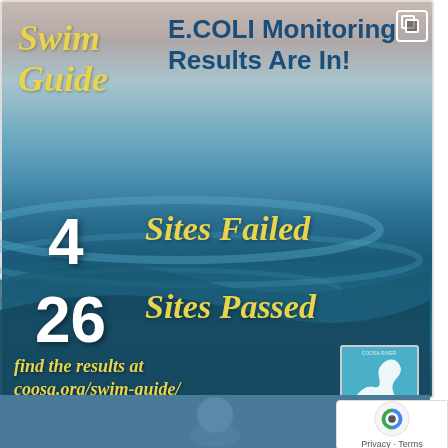[Figure (infographic): Swim Guide social media post with ocean water background showing E.COLI monitoring results: 4 Sites Failed, 26 Sites Passed, with link to coosa.org/swim-guide/ and CRBI logo]
Swim Guide
E.COLI Monitoring Results Are In!
4 Sites Failed
26 Sites Passed
find the results at coosa.org/swim-guide/